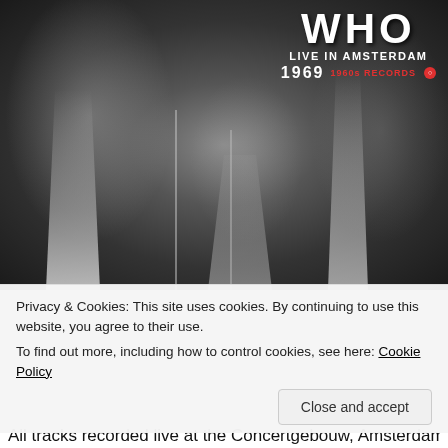[Figure (photo): Black and white concert photo of The Who performing live, with musicians on stage playing guitar and singing. The top right corner shows the band name 'WHO', 'LIVE IN AMSTERDAM', '1969', and '1960s RECORDS' logo in white and red text.]
Privacy & Cookies: This site uses cookies. By continuing to use this website, you agree to their use.
To find out more, including how to control cookies, see here: Cookie Policy
Close and accept
All tracks recorded live at the Concertgebouw, Amsterdam,